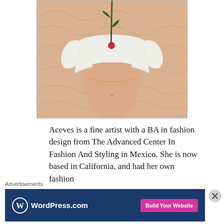[Figure (illustration): A painting of a figure in a white cropped top with a rose, torso exposed, set against a peach/salmon patterned background]
Aceves is a fine artist with a BA in fashion design from The Advanced Center In Fashion And Styling in Mexico. She is now based in California, and had her own fashion
Advertisements
[Figure (logo): WordPress.com advertisement banner with 'Build Your Website' button]